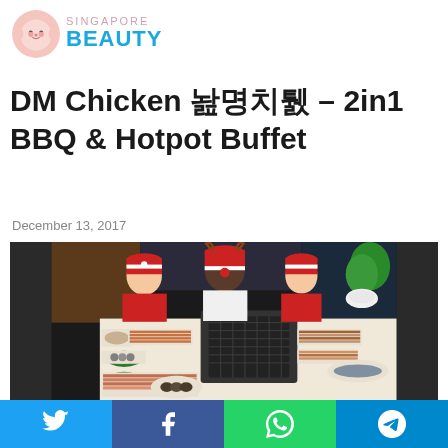[Figure (logo): Singapore Beauty logo with pink cartoon character and blue text]
DM Chicken 대명치킨 – 2in1 BBQ & Hotpot Buffet
December 13, 2017
[Figure (photo): Three people in Santa and reindeer costumes sitting at a table loaded with BBQ and hotpot buffet food including meats, seafood, and vegetables]
Twitter | Facebook | WhatsApp | Telegram social share buttons